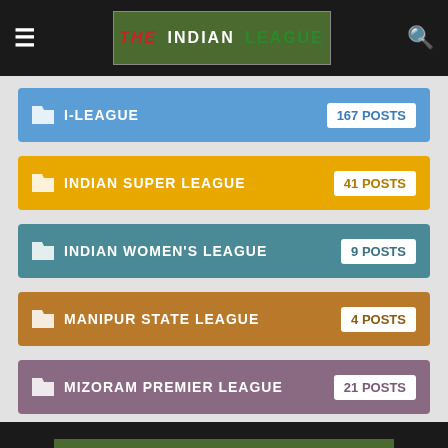THE INDIAN LEAGUE
I-LEAGUE — 167 POSTS
INDIAN SUPER LEAGUE — 41 POSTS
INDIAN WOMEN'S LEAGUE — 9 POSTS
MANIPUR STATE LEAGUE — 4 POSTS
MIZORAM PREMIER LEAGUE — 21 POSTS
THE INDIAN LEAGUE